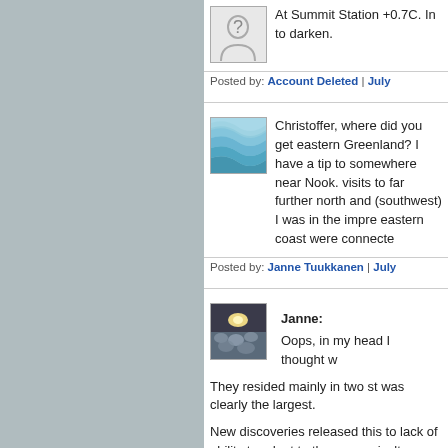[Figure (illustration): Question mark avatar icon (silhouette with question mark)]
At Summit Station +0.7C. In to darken.
Posted by: Account Deleted | July
[Figure (illustration): Wavy blue water texture avatar]
Christoffer, where did you get eastern Greenland? I have a tip to somewhere near Nook. visits to far further north and southwest) I was in the impre eastern coast were connecte
Posted by: Janne Tuukkanen | July
[Figure (photo): Photo of icy landscape with sun on horizon]
Janne:
Oops, in my head I thought w
They resided mainly in two st was clearly the largest.
New discoveries released this to lack of ability to adapt to th upon agriculture, and also the